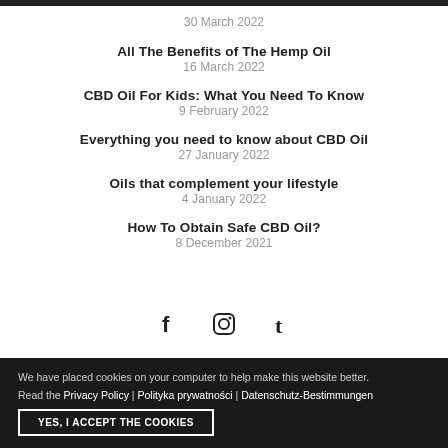30 March 2022
All The Benefits of The Hemp Oil
16 March 2022
CBD Oil For Kids: What You Need To Know
9 February 2022
Everything you need to know about CBD Oil
27 January 2022
Oils that complement your lifestyle
4 January 2022
How To Obtain Safe CBD Oil?
8 December 2021
[Figure (other): Social media icons: Facebook, Instagram, Tumblr]
We have placed cookies on your computer to help make this website better.
Read the Privacy Policy | Polityka prywatności | Datenschutz-Bestimmungen
YES, I ACCEPT THE COOKIES